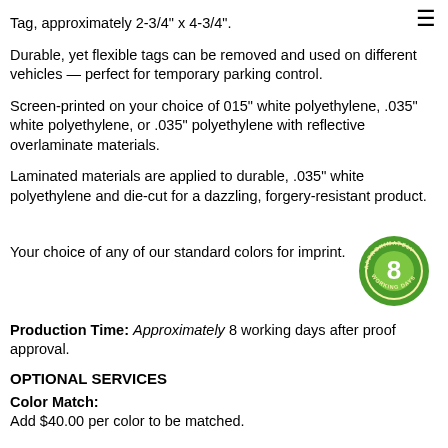Tag, approximately 2-3/4" x 4-3/4".
Durable, yet flexible tags can be removed and used on different vehicles — perfect for temporary parking control.
Screen-printed on your choice of 015" white polyethylene, .035" white polyethylene, or .035" polyethylene with reflective overlaminate materials.
Laminated materials are applied to durable, .035" white polyethylene and die-cut for a dazzling, forgery-resistant product.
[Figure (logo): Green circular badge with number 8 and text 'APPROXIMATELY 8 WORKING DAYS']
Your choice of any of our standard colors for imprint.
Production Time: Approximately 8 working days after proof approval.
OPTIONAL SERVICES
Color Match: Add $40.00 per color to be matched.